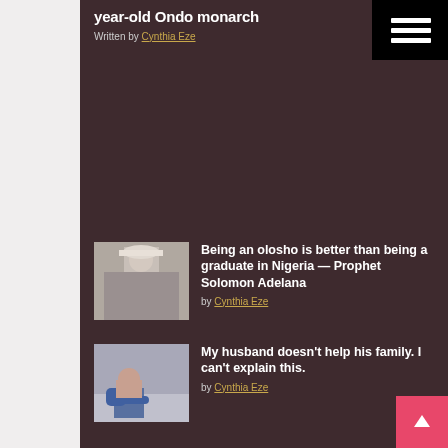year-old Ondo monarch
Written by Cynthia Eze
[Figure (photo): Thumbnail image of a man, related article photo]
Being an olosho is better than being a graduate in Nigeria — Prophet Solomon Adelana
by Cynthia Eze
[Figure (photo): Thumbnail image of a distressed person sitting on the floor]
My husband doesn't help his family. I can't explain this.
by Cynthia Eze